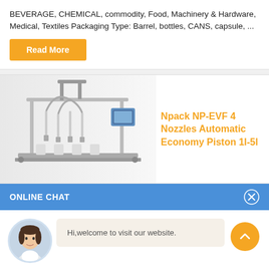BEVERAGE, CHEMICAL, commodity, Food, Machinery & Hardware, Medical, Textiles Packaging Type: Barrel, bottles, CANS, capsule, ...
Read More
[Figure (photo): Industrial 4-nozzle automatic piston filling machine with stainless steel frame and multiple filling heads]
Npack NP-EVF 4 Nozzles Automatic Economy Piston 1l-5l
ONLINE CHAT
[Figure (photo): Avatar of female customer service representative named Cilina]
Hi,welcome to visit our website.
Cilina